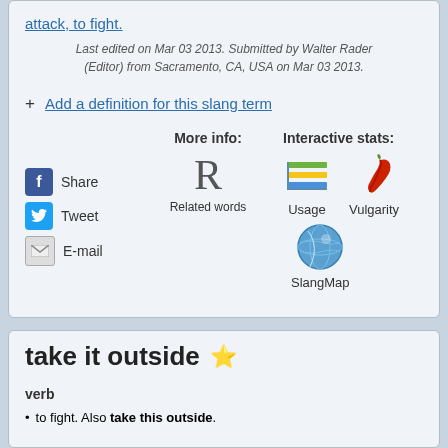attack, to fight.
Last edited on Mar 03 2013. Submitted by Walter Rader (Editor) from Sacramento, CA, USA on Mar 03 2013.
+ Add a definition for this slang term
[Figure (infographic): Social sharing icons (Facebook Share, Tweet, E-mail) alongside More info section with Related words (R letter) and Interactive stats with Usage chart icon, Vulgarity chili icon, and SlangMap globe icon]
take it outside ⭐
verb
to fight. Also take this outside.